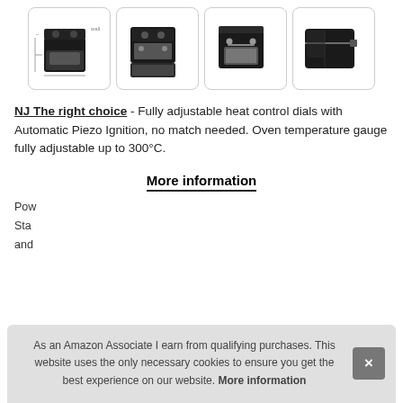[Figure (photo): Four product images of a portable gas oven/stove: dimensional drawing, open oven view, front view, and protective cover]
NJ The right choice - Fully adjustable heat control dials with Automatic Piezo Ignition, no match needed. Oven temperature gauge fully adjustable up to 300°C.
More information
Pow
Sta
and
As an Amazon Associate I earn from qualifying purchases. This website uses the only necessary cookies to ensure you get the best experience on our website. More information